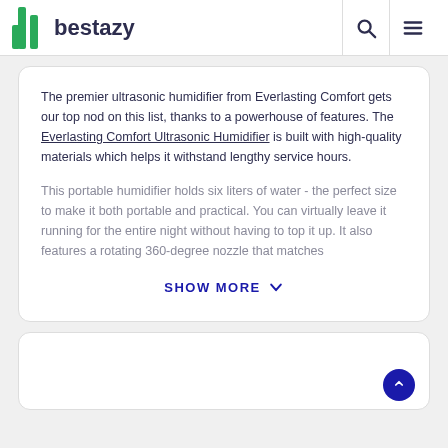bestazy
The premier ultrasonic humidifier from Everlasting Comfort gets our top nod on this list, thanks to a powerhouse of features. The Everlasting Comfort Ultrasonic Humidifier is built with high-quality materials which helps it withstand lengthy service hours.
This portable humidifier holds six liters of water - the perfect size to make it both portable and practical. You can virtually leave it running for the entire night without having to top it up. It also features a rotating 360-degree nozzle that matches
SHOW MORE